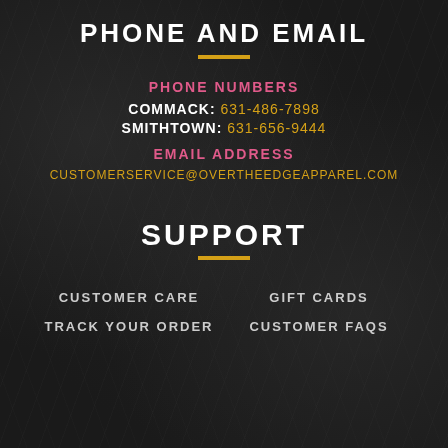Phone and Email
PHONE NUMBERS
COMMACK: 631-486-7898
SMITHTOWN: 631-656-9444
EMAIL ADDRESS
CUSTOMERSERVICE@OVERTHEEDGEAPPAREL.COM
Support
CUSTOMER CARE
GIFT CARDS
TRACK YOUR ORDER
CUSTOMER FAQS